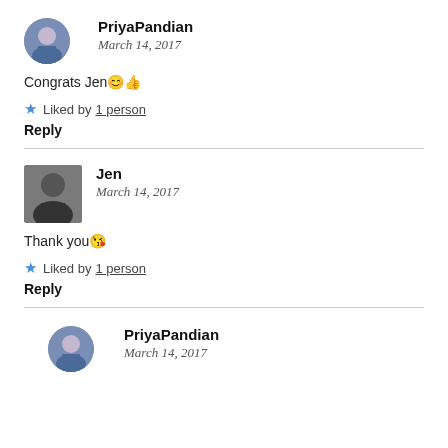PriyaPandian
March 14, 2017
Congrats Jen😊👍
Liked by 1 person
Reply
Jen
March 14, 2017
Thank you😘
Liked by 1 person
Reply
PriyaPandian
March 14, 2017